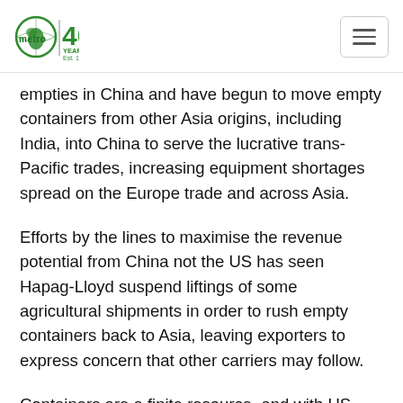metro 40 YEARS Est. 1981
empties in China and have begun to move empty containers from other Asia origins, including India, into China to serve the lucrative trans-Pacific trades, increasing equipment shortages spread on the Europe trade and across Asia.
Efforts by the lines to maximise the revenue potential from China not the US has seen Hapag-Lloyd suspend liftings of some agricultural shipments in order to rush empty containers back to Asia, leaving exporters to express concern that other carriers may follow.
Containers are a finite resource, and with US importers willing to pay the most for a container,